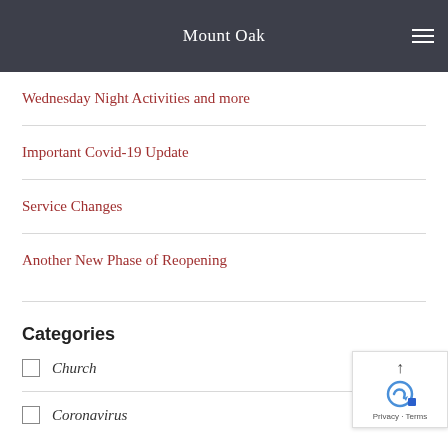Mount Oak
Wednesday Night Activities and more
Important Covid-19 Update
Service Changes
Another New Phase of Reopening
Categories
Church
Coronavirus